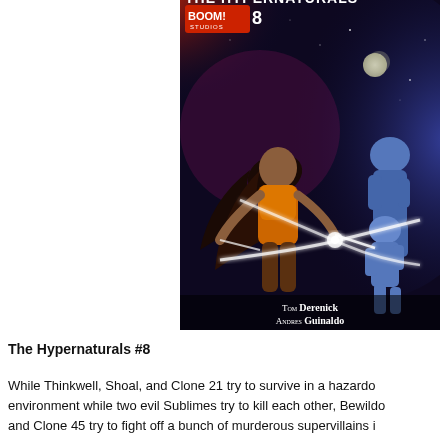[Figure (illustration): Comic book cover for The Hypernaturals #8 published by BOOM! Studios. Features a woman with long dark hair in an orange top shooting energy beams, two blue-skinned superhero figures in a cosmic space background of red and blue nebula clouds with a moon. Credits: Tom Derenick, Andres Guinaldo.]
The Hypernaturals #8
While Thinkwell, Shoal, and Clone 21 try to survive in a hazardous environment while two evil Sublimes try to kill each other, Bewilderment and Clone 45 try to fight off a bunch of murderous supervillains i...